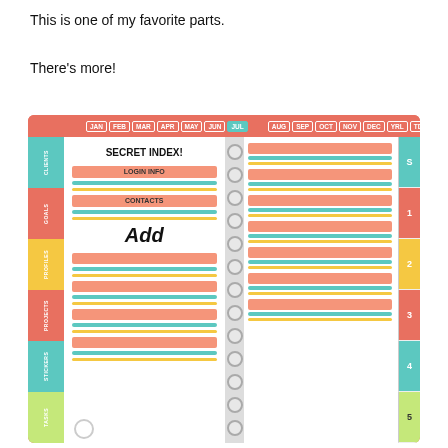This is one of my favorite parts.
There’s more!
[Figure (illustration): A colorful spiral-bound planner open to a two-page spread. Left page shows SECRET INDEX with labeled tabs: LOGIN INFO, CONTACTS, and handwritten 'Add'. Right page shows colored index bars. Side tabs read CLIENTS, GOALS, PROFILES, PROJECTS, STICKERS, TASKS. Top tabs show months JAN through TD. Right edge tabs show S, 1, 2, 3, 4, 5.]